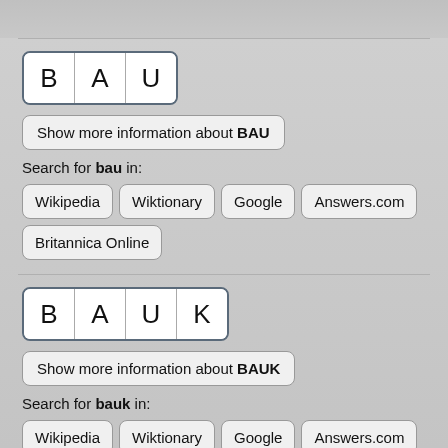[Figure (screenshot): Mobile app screenshot showing dictionary/reference app with letter tiles spelling BAU and BAUK, with search buttons for Wikipedia, Wiktionary, Google, Answers.com, Britannica Online]
Show more information about BAU
Search for bau in:
Wikipedia
Wiktionary
Google
Answers.com
Britannica Online
Show more information about BAUK
Search for bauk in:
Wikipedia
Wiktionary
Google
Answers.com
Britannica Online